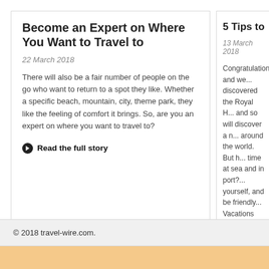Become an Expert on Where You Want to Travel to
22 March 2018
There will also be a fair number of people on the go who want to return to a spot they like. Whether a specific beach, mountain, city, theme park, they like the feeling of comfort it brings. So, are you an expert on where you want to travel to?
Read the full story
Posted in Destinations, North America, TipsComments Off
5 Tips to Help Holiday Vacat... Perfect
13 March 2018
Congratulations and we... discovered the Royal H... and so will discover a n... around the world. But h... time at sea and in port?... yourself, and be friendly... Vacations has [...]
Read the full story
© 2018 travel-wire.com.